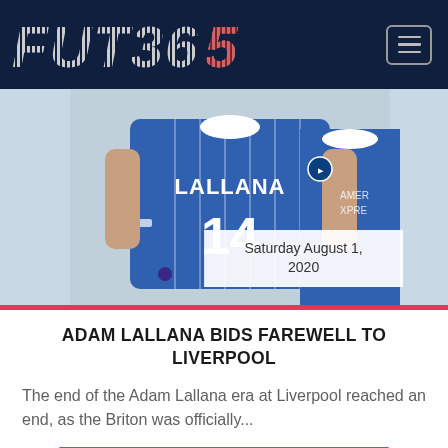FUT365
[Figure (photo): Adam Lallana holding up a Brighton & Hove Albion number 14 jersey with his name on the back, wearing the blue Brighton kit]
Saturday August 1, 2020
ADAM LALLANA BIDS FAREWELL TO LIVERPOOL
The end of the Adam Lallana era at Liverpool reached an end, as the Briton was officially...
Read More →